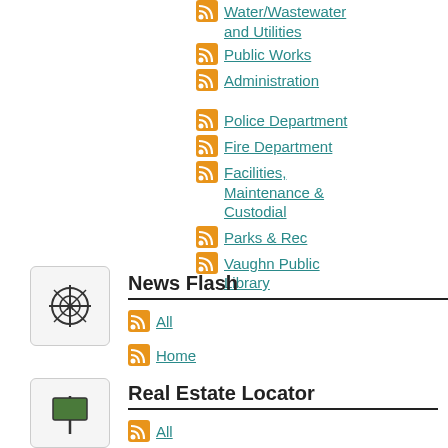Water/Wastewater and Utilities
Public Works
Administration
Police Department
Fire Department
Facilities, Maintenance & Custodial
Parks & Rec
Vaughn Public Library
News Flash
All
Home
Real Estate Locator
All